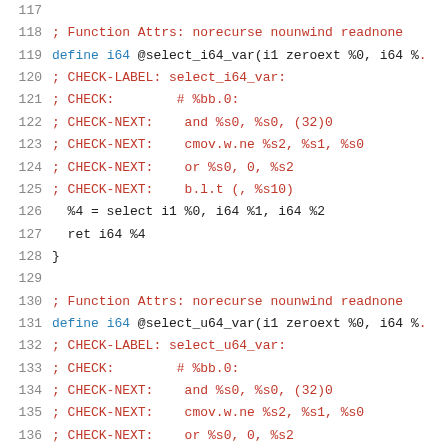117
118    ; Function Attrs: norecurse nounwind readnone
119    define i64 @select_i64_var(i1 zeroext %0, i64 %.
120    ; CHECK-LABEL: select_i64_var:
121    ; CHECK:        # %bb.0:
122    ; CHECK-NEXT:   and %s0, %s0, (32)0
123    ; CHECK-NEXT:   cmov.w.ne %s2, %s1, %s0
124    ; CHECK-NEXT:   or %s0, 0, %s2
125    ; CHECK-NEXT:   b.l.t (, %s10)
126      %4 = select i1 %0, i64 %1, i64 %2
127      ret i64 %4
128    }
129
130    ; Function Attrs: norecurse nounwind readnone
131    define i64 @select_u64_var(i1 zeroext %0, i64 %.
132    ; CHECK-LABEL: select_u64_var:
133    ; CHECK:        # %bb.0:
134    ; CHECK-NEXT:   and %s0, %s0, (32)0
135    ; CHECK-NEXT:   cmov.w.ne %s2, %s1, %s0
136    ; CHECK-NEXT:   or %s0, 0, %s2
137    ; CHECK-NEXT:   b.l.t (, %s10)